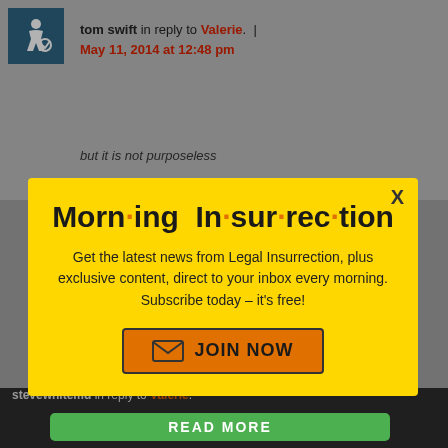tom swift in reply to Valerie. | May 11, 2014 at 12:48 pm
but it is not purposeless
[Figure (screenshot): Morning Insurrection newsletter signup modal popup on yellow background with orange JOIN NOW button]
stevewhitemd in reply to Valerie.
READ MORE